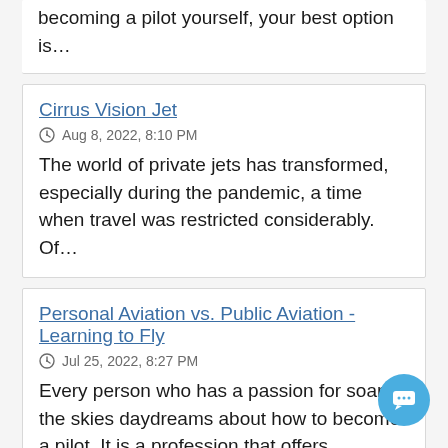becoming a pilot yourself, your best option is…
Cirrus Vision Jet
Aug 8, 2022, 8:10 PM
The world of private jets has transformed, especially during the pandemic, a time when travel was restricted considerably. Of…
Personal Aviation vs. Public Aviation - Learning to Fly
Jul 25, 2022, 8:27 PM
Every person who has a passion for soaring the skies daydreams about how to become a pilot. It is a profession that offers…